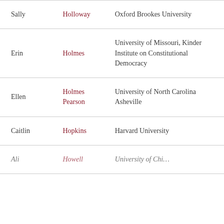| Sally | Holloway | Oxford Brookes University |
| Erin | Holmes | University of Missouri, Kinder Institute on Constitutional Democracy |
| Ellen | Holmes Pearson | University of North Carolina Asheville |
| Caitlin | Hopkins | Harvard University |
| Ali | Howell | University of Chi... |